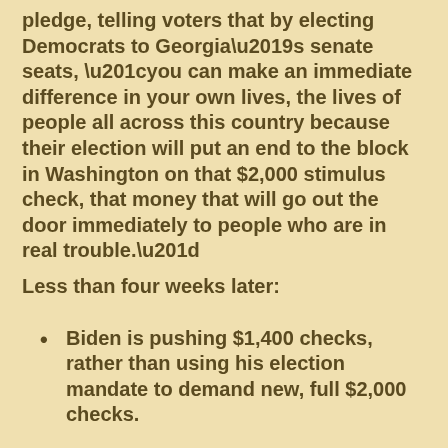pledge, telling voters that by electing Democrats to Georgia’s senate seats, “you can make an immediate difference in your own lives, the lives of people all across this country because their election will put an end to the block in Washington on that $2,000 stimulus check, that money that will go out the door immediately to people who are in real trouble.”
Less than four weeks later:
Biden is pushing $1,400 checks, rather than using his election mandate to demand new, full $2,000 checks.
Democrats are now suggesting that it could take at least until March to even pass the legislation, even as the